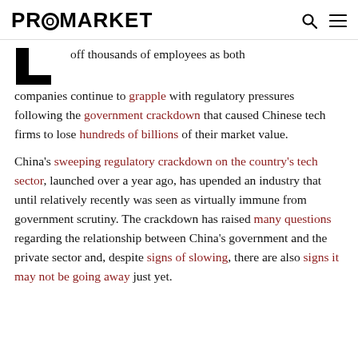PROMARKET
off thousands of employees as both companies continue to grapple with regulatory pressures following the government crackdown that caused Chinese tech firms to lose hundreds of billions of their market value.
China's sweeping regulatory crackdown on the country's tech sector, launched over a year ago, has upended an industry that until relatively recently was seen as virtually immune from government scrutiny. The crackdown has raised many questions regarding the relationship between China's government and the private sector and, despite signs of slowing, there are also signs it may not be going away just yet.